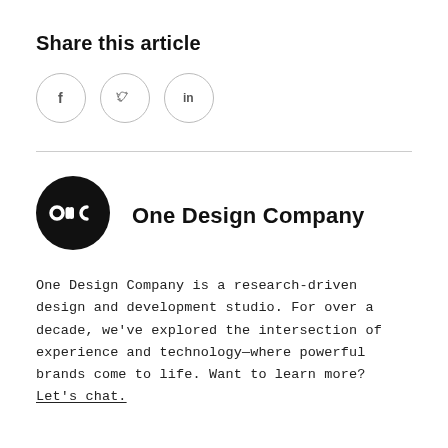Share this article
[Figure (illustration): Three circular social media share buttons: Facebook (f), Twitter (bird icon), LinkedIn (in)]
[Figure (logo): One Design Company logo: black circle with white ODC lettermark, next to bold text 'One Design Company']
One Design Company is a research-driven design and development studio. For over a decade, we've explored the intersection of experience and technology—where powerful brands come to life. Want to learn more? Let's chat.